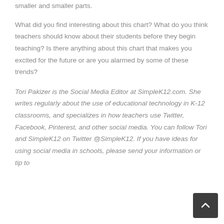smaller and smaller parts.
What did you find interesting about this chart? What do you think teachers should know about their students before they begin teaching? Is there anything about this chart that makes you excited for the future or are you alarmed by some of these trends?
Tori Pakizer is the Social Media Editor at SimpleK12.com. She writes regularly about the use of educational technology in K-12 classrooms, and specializes in how teachers use Twitter, Facebook, Pinterest, and other social media. You can follow Tori and SimpleK12 on Twitter @SimpleK12. If you have ideas for using social media in schools, please send your information or tip to